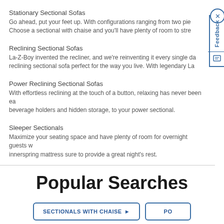Stationary Sectional Sofas
Go ahead, put your feet up. With configurations ranging from two pie… Choose a sectional with chaise and you'll have plenty of room to stre…
Reclining Sectional Sofas
La-Z-Boy invented the recliner, and we're reinventing it every single da… reclining sectional sofa perfect for the way you live. With legendary La…
Power Reclining Sectional Sofas
With effortless reclining at the touch of a button, relaxing has never been ea… beverage holders and hidden storage, to your power sectional.
Sleeper Sectionals
Maximize your seating space and have plenty of room for overnight guests w… innerspring mattress sure to provide a great night's rest.
Popular Searches
SECTIONALS WITH CHAISE ▶
PO…